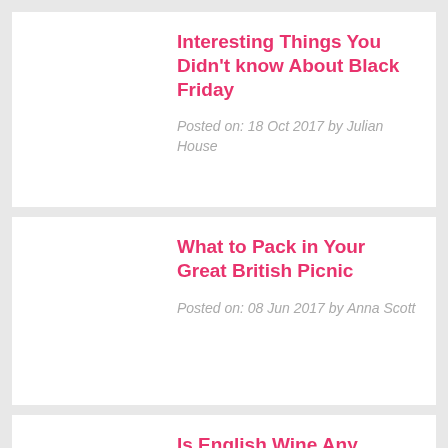Interesting Things You Didn't know About Black Friday
Posted on: 18 Oct 2017 by Julian House
What to Pack in Your Great British Picnic
Posted on: 08 Jun 2017 by Anna Scott
Is English Wine Any Good?
Posted on: 01 Jun 2017 by Anna